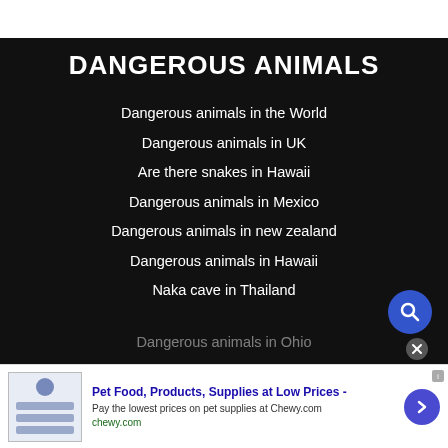DANGEROUS ANIMALS
Dangerous animals in the World
Dangerous animals in UK
Are there snakes in Hawaii
Dangerous animals in Mexico
Dangerous animals in new zealand
Dangerous animals in Hawaii
Naka cave in Thailand
Dangerous animals in Ohio
Pet Food, Products, Supplies at Low Prices - Pay the lowest prices on pet supplies at Chewy.com chewy.com